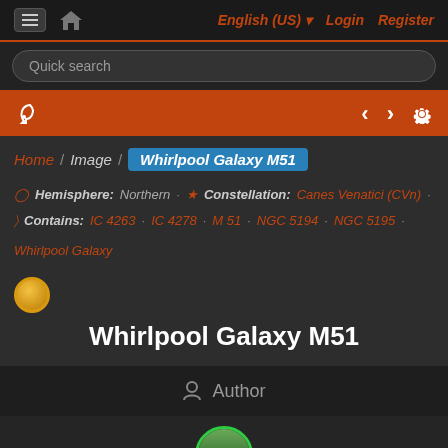≡ 🏠 English (US) ▼ Login Register
Quick search
Home / Image / Whirlpool Galaxy M51
Hemisphere: Northern · Constellation: Canes Venatici (CVn) · Contains: IC 4263 · IC 4278 · M 51 · NGC 5194 · NGC 5195 · Whirlpool Galaxy
Whirlpool Galaxy M51
Author